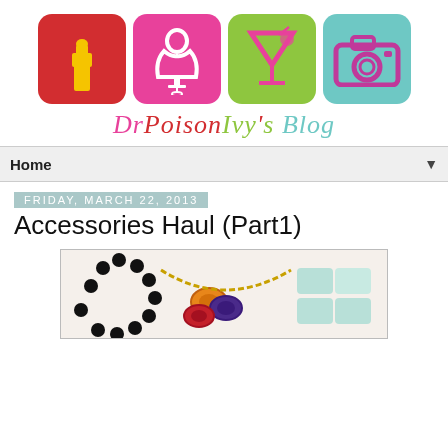[Figure (logo): DrPoisonIvy's Blog logo with four colored icon boxes (red lipstick, pink dress form, green cocktail, teal camera) and stylized blog name below]
Home
Friday, March 22, 2013
Accessories Haul (Part1)
[Figure (photo): Photo of accessories including black beaded necklace, colorful rings, gold chain necklace, and mint/turquoise chunky bracelet]